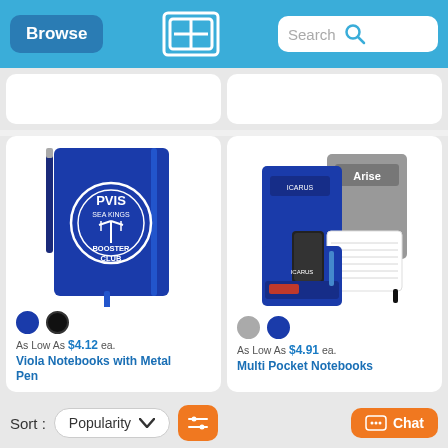Browse | Search
[Figure (photo): Viola notebook with metal pen, navy blue cover with PVIS Sea Kings Booster Club logo]
[Figure (photo): Multi pocket notebooks in navy and gray with pockets for phone, pen, cards]
As Low As $4.12 ea.
Viola Notebooks with Metal Pen
As Low As $4.91 ea.
Multi Pocket Notebooks
Sort : Popularity   [filter icon]   Chat